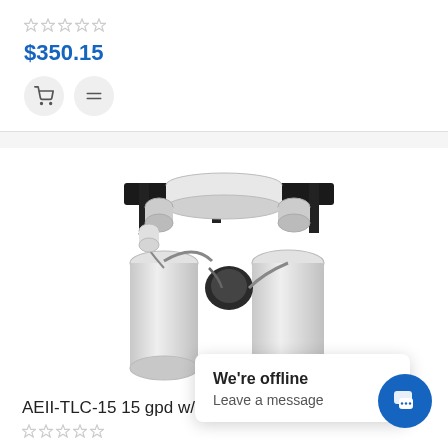$350.15
[Figure (photo): Reverse osmosis water filtration system with two white filter canisters, black mounting bracket, and pump assembly – product AEII-TLC-15]
AEII-TLC-15 15 gpd w/PRE-CARBON
$333.87
We're offline
Leave a message